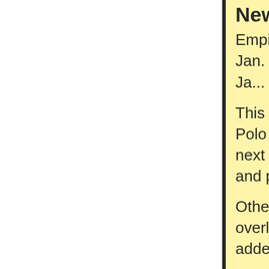News ...
Empire Polo Club is pleased to announce... is scheduled for Jan. 9th - 11th, 20... Lights" kicks-off the weekend on Ja... Hat Day" on Sunday, January 11th...
This season we are excited to announce... to our VIP Sunday Polo venue. Th... Sunday football games and other p... next to the main bar area and will g... enjoy both football and polo!
Other changes include additional c... Terrace that overlooks the main po... near the cabanas has been added... updated menu.